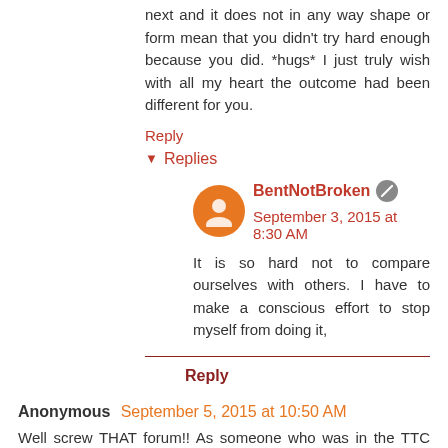next and it does not in any way shape or form mean that you didn't try hard enough because you did. *hugs* I just truly wish with all my heart the outcome had been different for you.
Reply
Replies
BentNotBroken September 3, 2015 at 8:30 AM
It is so hard not to compare ourselves with others. I have to make a conscious effort to stop myself from doing it,
Reply
Anonymous September 5, 2015 at 10:50 AM
Well screw THAT forum!! As someone who was in the TTC world for quite awhile, I can personally say it's quite a narrow minded realm to be in. Although I wasn't always in a